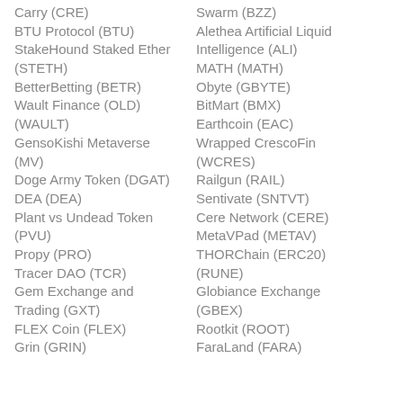Carry (CRE)
BTU Protocol (BTU)
StakeHound Staked Ether (STETH)
BetterBetting (BETR)
Wault Finance (OLD) (WAULT)
GensoKishi Metaverse (MV)
Doge Army Token (DGAT)
DEA (DEA)
Plant vs Undead Token (PVU)
Propy (PRO)
Tracer DAO (TCR)
Gem Exchange and Trading (GXT)
FLEX Coin (FLEX)
Grin (GRIN)
Swarm (BZZ)
Alethea Artificial Liquid Intelligence (ALI)
MATH (MATH)
Obyte (GBYTE)
BitMart (BMX)
Earthcoin (EAC)
Wrapped CrescoFin (WCRES)
Railgun (RAIL)
Sentivate (SNTVT)
Cere Network (CERE)
MetaVPad (METAV)
THORChain (ERC20) (RUNE)
Globiance Exchange (GBEX)
Rootkit (ROOT)
FaraLand (FARA)